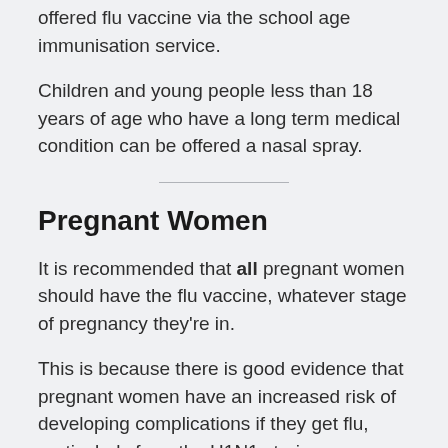offered flu vaccine via the school age immunisation service.
Children and young people less than 18 years of age who have a long term medical condition can be offered a nasal spray.
Pregnant Women
It is recommended that all pregnant women should have the flu vaccine, whatever stage of pregnancy they're in.
This is because there is good evidence that pregnant women have an increased risk of developing complications if they get flu, particularly from the H1N1 strain.
Studies have shown that the flu vaccine can be safely